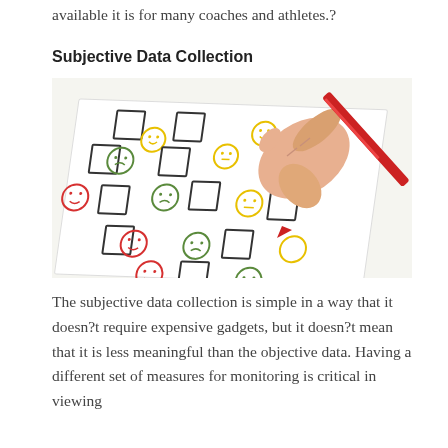available it is for many coaches and athletes.?
Subjective Data Collection
[Figure (photo): A hand holding a red pen/pencil marking checkboxes on a paper with smiley face icons in red, green, and yellow colors, representing a survey or feedback form.]
The subjective data collection is simple in a way that it doesn?t require expensive gadgets, but it doesn?t mean that it is less meaningful than the objective data. Having a different set of measures for monitoring is critical in viewing